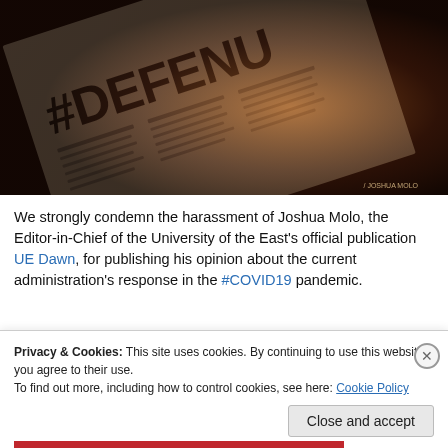[Figure (photo): Dark-toned newspaper with #DEFENDUP hashtag visible, lit from below with warm amber light. Photo credit: Joshua Molo visible in bottom right.]
We strongly condemn the harassment of Joshua Molo, the Editor-in-Chief of the University of the East's official publication UE Dawn, for publishing his opinion about the current administration's response in the #COVID19 pandemic.
Privacy & Cookies: This site uses cookies. By continuing to use this website, you agree to their use.
To find out more, including how to control cookies, see here: Cookie Policy
Close and accept